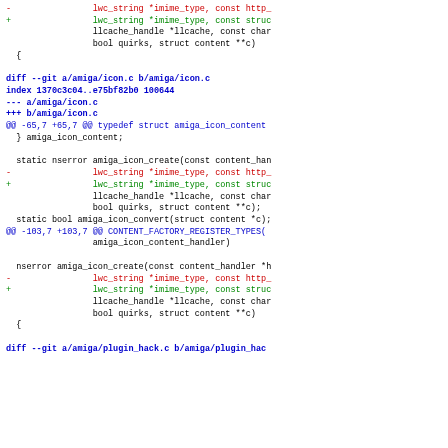Git diff output showing changes to amiga/icon.c and amiga/plugin_hack.c, including function signature modifications replacing http_ parameters with struct parameters.